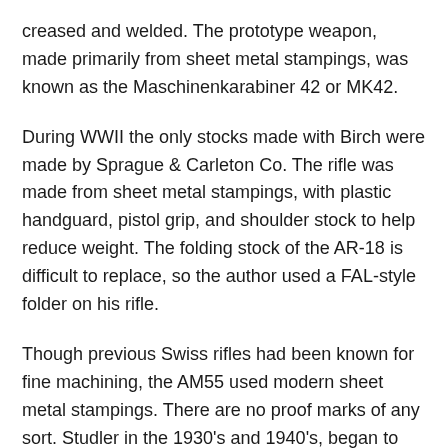creased and welded. The prototype weapon, made primarily from sheet metal stampings, was known as the Maschinenkarabiner 42 or MK42.
During WWII the only stocks made with Birch were made by Sprague & Carleton Co. The rifle was made from sheet metal stampings, with plastic handguard, pistol grip, and shoulder stock to help reduce weight. The folding stock of the AR-18 is difficult to replace, so the author used a FAL-style folder on his rifle.
Though previous Swiss rifles had been known for fine machining, the AM55 used modern sheet metal stampings. There are no proof marks of any sort. Studler in the 1930's and 1940's, began to show.